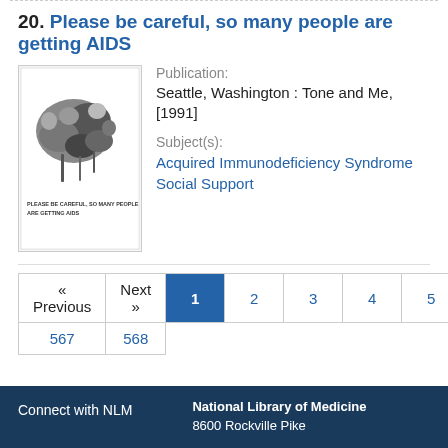20. Please be careful, so many people are getting AIDS
Publication:
Seattle, Washington : Tone and Me, [1991]
Subject(s):
Acquired Immunodeficiency Syndrome
Social Support
[Figure (photo): Black and white photo of flowers on the book cover with text 'PLEASE BE CAREFUL, SO MANY PEOPLE ARE GETTING AIDS']
| « Previous | Next » | 1 | 2 | 3 | 4 | 5 | ... |
| 567 | 568 |
Connect with NLM
National Library of Medicine
8600 Rockville Pike